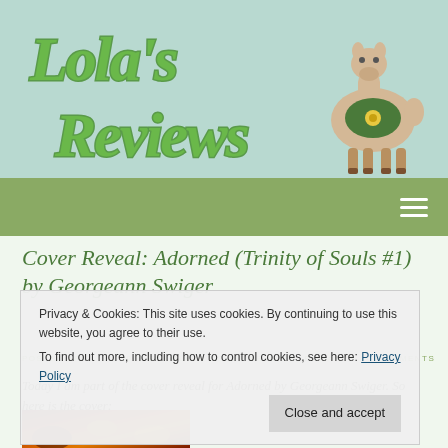[Figure (logo): Lola's Reviews blog logo with stylized green cursive text and an illustrated llama on a light teal background]
Navigation bar with hamburger menu icon
Cover Reveal: Adorned (Trinity of Souls #1) by Georgeann Swiger
POSTED APRIL 14, 2015 BY LOLA IN COVER REVEALS, ROMANCE / 0 COMMENTS
Today I am part of the cover reveal for Adorned by Georgeann Swiger. So here is the cover:
[Figure (photo): Bottom portion of a dark book cover with orange and gold tones]
Privacy & Cookies: This site uses cookies. By continuing to use this website, you agree to their use. To find out more, including how to control cookies, see here: Privacy Policy
Close and accept